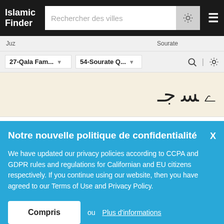Islamic Finder
27-Qala Fam...  54-Sourate Q...
[Figure (screenshot): Arabic Quran text displayed in beige/off-white area]
Tairee biaAAyunina jazaan liman kana kufira
Notre nouvelle politique de confidentialité
We have updated our privacy policies according to CCPA and GDPR rules and regulations for Californian and EU citizens respectively. If you continue using our website, then you have agreed to our Terms of Use and Privacy Policy.
Compris ou Plus d'informations